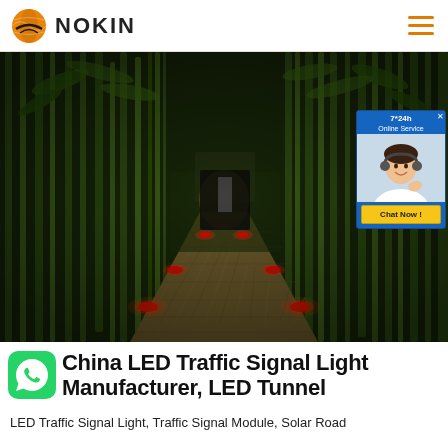NOKIN
[Figure (photo): A bamboo-lined pathway at night with red LED road studs embedded along the path, illuminating the walkway. Lush green bamboo forms a canopy overhead. A chat widget overlay appears in the top-right corner showing '7*24h Online Service' with a customer service representative image and a 'Chat Now!' button.]
China LED Traffic Signal Light Manufacturer, LED Tunnel
LED Traffic Signal Light, Traffic Signal Module, Solar Road